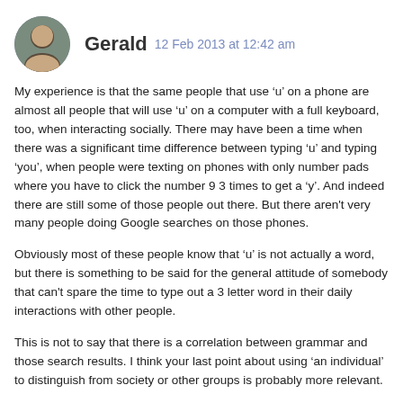Gerald 12 Feb 2013 at 12:42 am
My experience is that the same people that use ‘u’ on a phone are almost all people that will use ‘u’ on a computer with a full keyboard, too, when interacting socially. There may have been a time when there was a significant time difference between typing ‘u’ and typing ‘you’, when people were texting on phones with only number pads where you have to click the number 9 3 times to get a ‘y’. And indeed there are still some of those people out there. But there aren't very many people doing Google searches on those phones.
Obviously most of these people know that ‘u’ is not actually a word, but there is something to be said for the general attitude of somebody that can't spare the time to type out a 3 letter word in their daily interactions with other people.
This is not to say that there is a correlation between grammar and those search results. I think your last point about using ‘an individual’ to distinguish from society or other groups is probably more relevant.
Reply